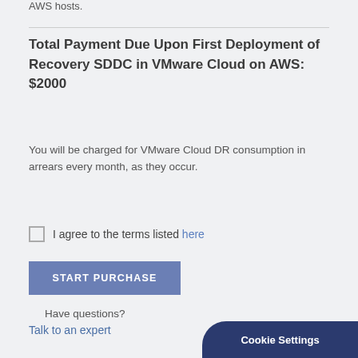AWS hosts.
Total Payment Due Upon First Deployment of Recovery SDDC in VMware Cloud on AWS: $2000
You will be charged for VMware Cloud DR consumption in arrears every month, as they occur.
I agree to the terms listed here
START PURCHASE
Have questions?
Talk to an expert
Cookie Settings